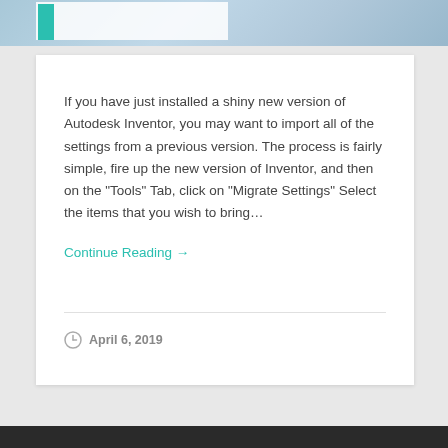[Figure (screenshot): Top banner image with a teal/turquoise bookmark icon on the left and a white overlay rectangle, with a light blue cloudy sky background.]
If you have just installed a shiny new version of Autodesk Inventor, you may want to import all of the settings from a previous version. The process is fairly simple, fire up the new version of Inventor, and then on the "Tools" Tab, click on "Migrate Settings" Select the items that you wish to bring…
Continue Reading →
April 6, 2019